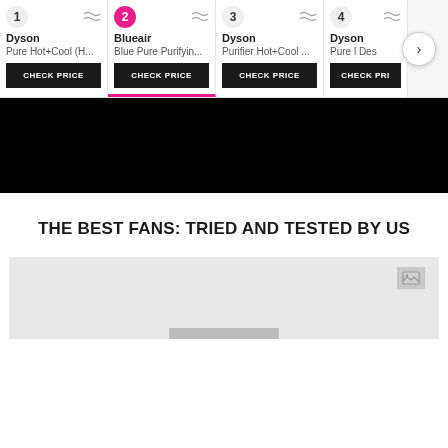[Figure (screenshot): Product comparison card row showing 4 air purifier products: 1. Dyson Pure Hot+Cool (H...), 2. Blueair Blue Pure Purifyin... (selected/active), 3. Dyson Purifier Hot+Cool ..., 4. Dyson Pure [Des...], with CHECK PRICE buttons and a navigation arrow]
[Figure (screenshot): Black video player block]
THE BEST FANS: TRIED AND TESTED BY US
[Figure (photo): Gray image placeholder with a broken image icon in the top right and a light bar at the bottom center]